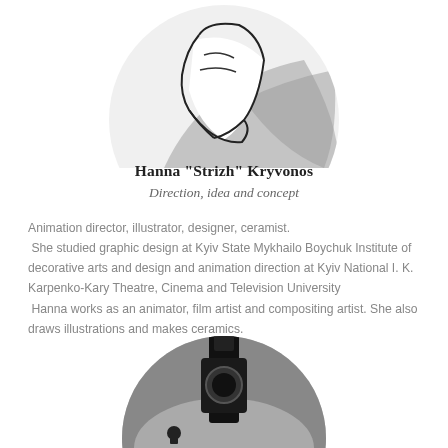[Figure (illustration): Circular illustration showing abstract line art of a bird or figure with gray halftone shading, partially cropped at top]
Hanna “Strizh” Kryvonos
Direction, idea and concept
Animation director, illustrator, designer, ceramist. She studied graphic design at Kyiv State Mykhailo Boychuk Institute of decorative arts and design and animation direction at Kyiv National I. K. Karpenko-Kary Theatre, Cinema and Television University
 Hanna works as an animator, film artist and compositing artist. She also draws illustrations and makes ceramics.
[Figure (photo): Circular black and white photo showing camera equipment or film production gear, partially cropped at bottom]